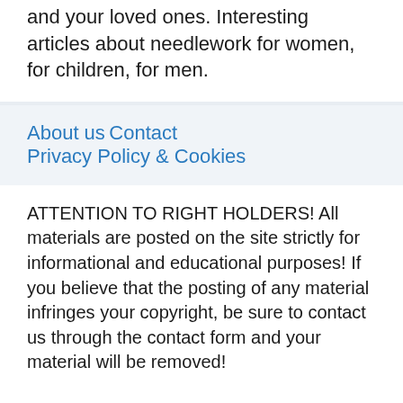and your loved ones. Interesting articles about needlework for women, for children, for men.
About us
Contact
Privacy Policy & Cookies
ATTENTION TO RIGHT HOLDERS! All materials are posted on the site strictly for informational and educational purposes! If you believe that the posting of any material infringes your copyright, be sure to contact us through the contact form and your material will be removed!